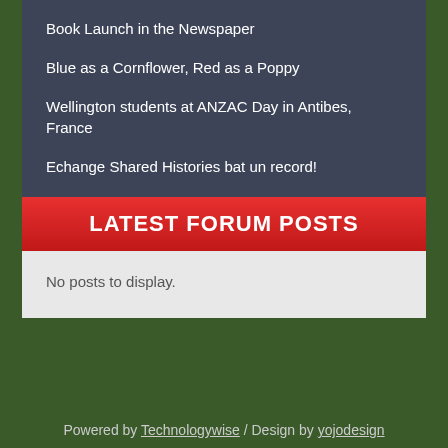Book Launch in the Newspaper
Blue as a Cornflower, Red as a Poppy
Wellington students at ANZAC Day in Antibes, France
Echange Shared Histories bat un record!
LATEST FORUM POSTS
No posts to display.
Powered by Technologywise / Design by yojodesign